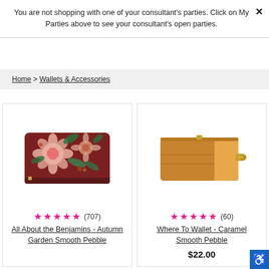You are not shopping with one of your consultant's parties. Click on My Parties above to see your consultant's open parties.
Home > Wallets & Accessories
[Figure (photo): A floral patterned wallet (brown/maroon background with pink and cream flowers and green leaves) — All About the Benjamins - Autumn Garden Smooth Pebble]
★★★★★ (707)
All About the Benjamins - Autumn Garden Smooth Pebble
[Figure (photo): A caramel/tan colored slim card wallet with gold zipper pull — Where To Wallet - Caramel Smooth Pebble]
★★★★★ (60)
Where To Wallet - Caramel Smooth Pebble
$22.00